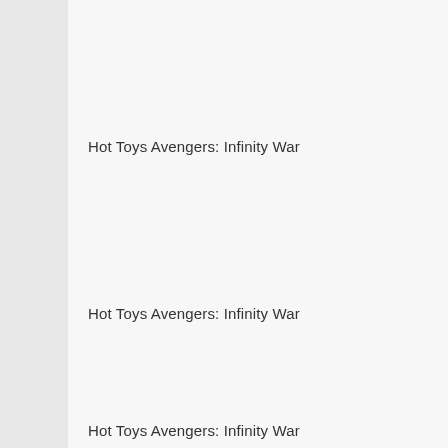Hot Toys Avengers: Infinity War
Hot Toys Avengers: Infinity War
Hot Toys Avengers: Infinity War